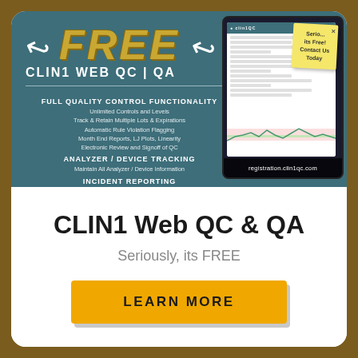[Figure (screenshot): Advertisement banner for CLIN1 Web QC & QA free software showing features list on teal background with laptop screenshot]
CLIN1 Web QC & QA
Seriously, its FREE
LEARN MORE